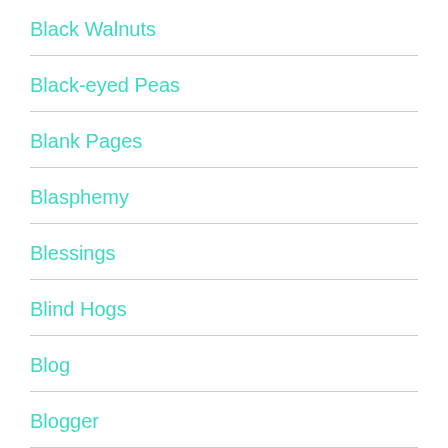Black Walnuts
Black-eyed Peas
Blank Pages
Blasphemy
Blessings
Blind Hogs
Blog
Blogger
Blogging